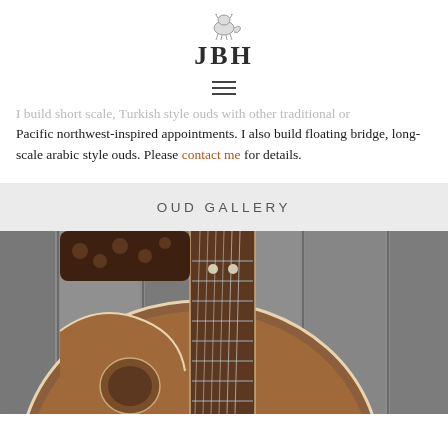JBH
I build short scale, Turkish style ouds with other traditional or Pacific northwest-inspired appointments. I also build floating bridge, long-scale arabic style ouds. Please contact me for details.
OUD GALLERY
[Figure (photo): Photo of a wooden oud (stringed instrument) leaning against a weathered grey wood plank wall. The instrument shows a warm brown wooden body, fretted neck with white fret markers, tuning pegs, and strings. Taken from a close-up angle showing the body and neck.]